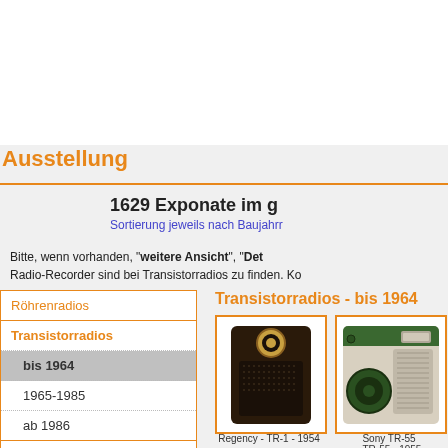Ausstellung
1629 Exponate im g
Sortierung jeweils nach Baujahrr
Bitte, wenn vorhanden, "weitere Ansicht", "Det Radio-Recorder sind bei Transistorradios zu finden. Ko
Röhrenradios
Transistorradios
bis 1964
1965-1985
ab 1986
Detektoren
Tonband/Audio
Transistorradios - bis 1964
[Figure (photo): Regency TR-1 transistor radio, dark colored, compact, vintage 1954]
Regency - TR-1 - 1954
[Figure (photo): Sony TR-55 transistor radio, green and white, vintage 1955]
Sony TR-55 - TR-55 - 1955